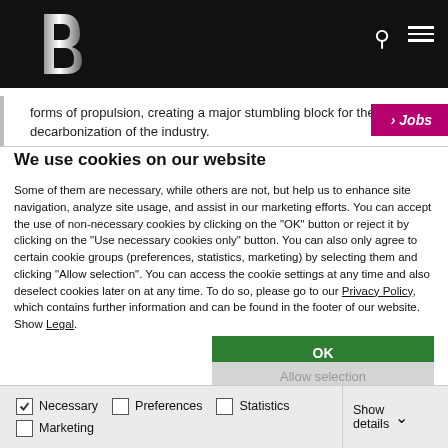B [logo] | Search | Menu
forms of propulsion, creating a major stumbling block for the decarbonization of the industry.
We use cookies on our website
Some of them are necessary, while others are not, but help us to enhance site navigation, analyze site usage, and assist in our marketing efforts. You can accept the use of non-necessary cookies by clicking on the "OK" button or reject it by clicking on the "Use necessary cookies only" button. You can also only agree to certain cookie groups (preferences, statistics, marketing) by selecting them and clicking "Allow selection". You can access the cookie settings at any time and also deselect cookies later on at any time. To do so, please go to our Privacy Policy, which contains further information and can be found in the footer of our website. Show Legal.
OK
Allow selection
Use necessary cookies only
Necessary [checked] | Preferences [unchecked] | Statistics [unchecked] | Marketing [unchecked] | Show details